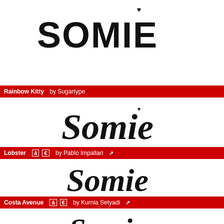[Figure (illustration): Stylized decorative script text 'SOMIE' in bold display font at top of page]
Rainbow Kitty by Sugartype
[Figure (illustration): Stylized cursive script text 'Somie' rendered in Rainbow Kitty font]
Lobster â € by Pablo Impallari ↗
[Figure (illustration): Stylized cursive script text 'Somie' rendered in Lobster font]
Costa Avenue â € by Kurnia Setyadi ↗
[Figure (illustration): Stylized cursive script text 'Somie' rendered in Costa Avenue font (partially visible)]